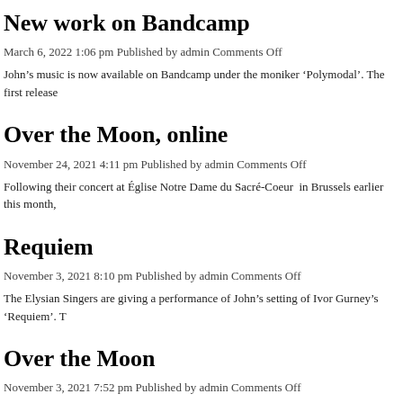New work on Bandcamp
March 6, 2022 1:06 pm Published by admin Comments Off
John’s music is now available on Bandcamp under the moniker ‘Polymodal’. The first release
Over the Moon, online
November 24, 2021 4:11 pm Published by admin Comments Off
Following their concert at Église Notre Dame du Sacré-Coeur  in Brussels earlier this month,
Requiem
November 3, 2021 8:10 pm Published by admin Comments Off
The Elysian Singers are giving a performance of John’s setting of Ivor Gurney’s ‘Requiem’. T
Over the Moon
November 3, 2021 7:52 pm Published by admin Comments Off